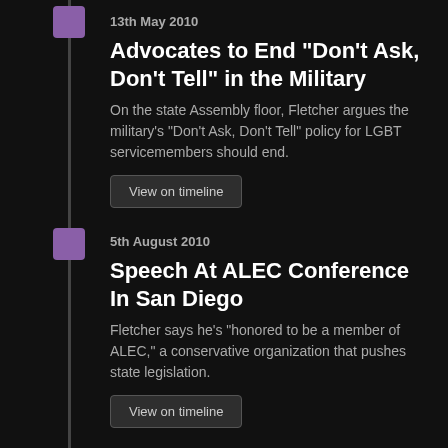13th May 2010
Advocates to End "Don't Ask, Don't Tell" in the Military
On the state Assembly floor, Fletcher argues the military's "Don't Ask, Don't Tell" policy for LGBT servicemembers should end.
View on timeline
5th August 2010
Speech At ALEC Conference In San Diego
Fletcher says he's "honored to be a member of ALEC," a conservative organization that pushes state legislation.
View on timeline